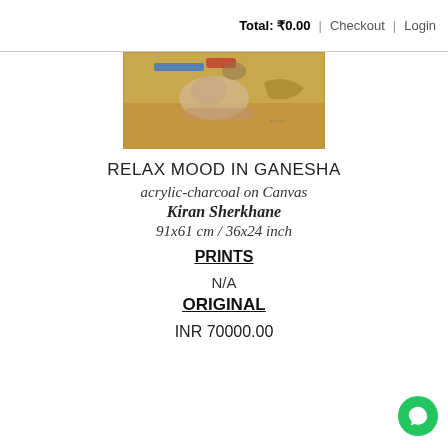Total: ₹0.00 | Checkout | Login
[Figure (photo): Partial view of a painting on canvas with golden/yellow-brown background, showing a figure in a reclining relaxed pose, likely Ganesha]
RELAX MOOD IN GANESHA
acrylic-charcoal on Canvas
Kiran Sherkhane
91x61 cm / 36x24 inch
PRINTS
N/A
ORIGINAL
INR 70000.00